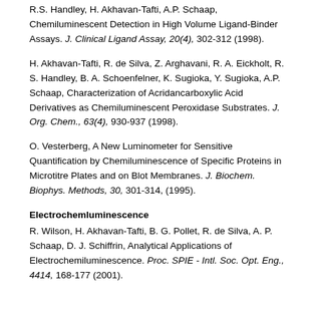R.S. Handley, H. Akhavan-Tafti, A.P. Schaap, Chemiluminescent Detection in High Volume Ligand-Binder Assays. J. Clinical Ligand Assay, 20(4), 302-312 (1998).
H. Akhavan-Tafti, R. de Silva, Z. Arghavani, R. A. Eickholt, R. S. Handley, B. A. Schoenfelner, K. Sugioka, Y. Sugioka, A.P. Schaap, Characterization of Acridancarboxylic Acid Derivatives as Chemiluminescent Peroxidase Substrates. J. Org. Chem., 63(4), 930-937 (1998).
O. Vesterberg, A New Luminometer for Sensitive Quantification by Chemiluminescence of Specific Proteins in Microtitre Plates and on Blot Membranes. J. Biochem. Biophys. Methods, 30, 301-314, (1995).
Electrochemluminescence
R. Wilson, H. Akhavan-Tafti, B. G. Pollet, R. de Silva, A. P. Schaap, D. J. Schiffrin, Analytical Applications of Electrochemiluminescence. Proc. SPIE - Intl. Soc. Opt. Eng., 4414, 168-177 (2001).